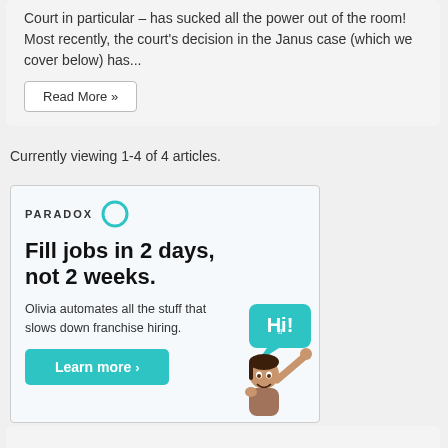Court in particular – has sucked all the power out of the room! Most recently, the court's decision in the Janus case (which we cover below) has...
Read More »
Currently viewing 1-4 of 4 articles.
[Figure (infographic): Paradox advertisement. Logo: PARADOX with teal circle icon. Headline: Fill jobs in 2 days, not 2 weeks. Subtext: Olivia automates all the stuff that slows down franchise hiring. Button: Learn more ›. Cartoon character of a woman waving with a 'Hi!' speech bubble.]